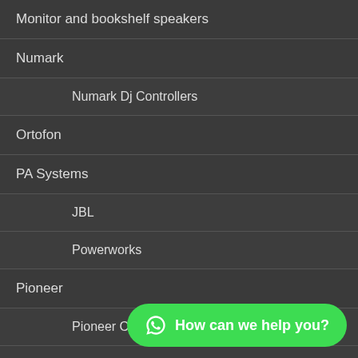Monitor and bookshelf speakers
Numark
Numark Dj Controllers
Ortofon
PA Systems
JBL
Powerworks
Pioneer
Pioneer Cdj
Pioneer Dj Controllers
Pioneer Mixers
How can we help you?